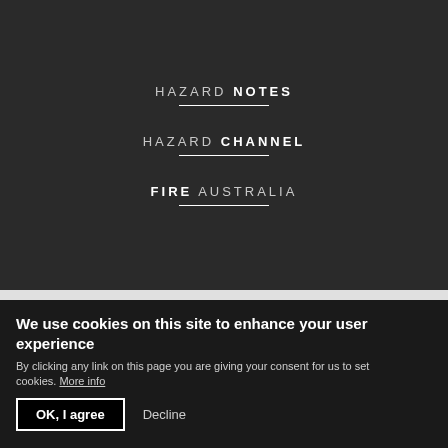HAZARD NOTES
HAZARD CHANNEL
FIRE AUSTRALIA
IN THE MEDIA
We use cookies on this site to enhance your user experience
By clicking any link on this page you are giving your consent for us to set cookies. More info
OK, I agree
Decline